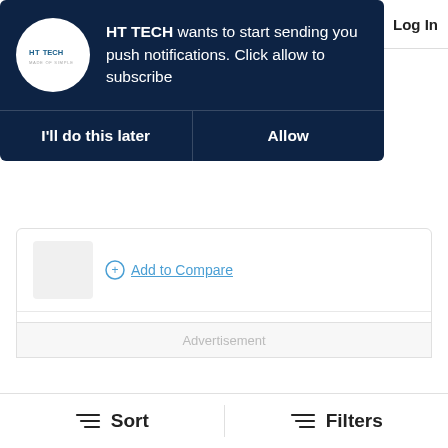[Figure (screenshot): HT Tech push notification overlay requesting permission to send push notifications, with 'I'll do this later' and 'Allow' buttons on dark navy background]
Add to Compare
Internal Memory  16 GB
Display  5.7 inches
Processor  Qualcomm Snapdragon 450
Advertisement
Sort
Filters